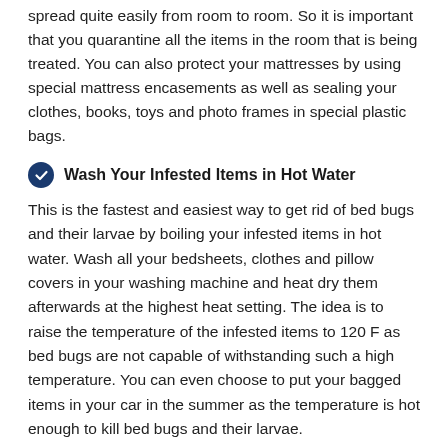spread quite easily from room to room. So it is important that you quarantine all the items in the room that is being treated. You can also protect your mattresses by using special mattress encasements as well as sealing your clothes, books, toys and photo frames in special plastic bags.
Wash Your Infested Items in Hot Water
This is the fastest and easiest way to get rid of bed bugs and their larvae by boiling your infested items in hot water. Wash all your bedsheets, clothes and pillow covers in your washing machine and heat dry them afterwards at the highest heat setting. The idea is to raise the temperature of the infested items to 120 F as bed bugs are not capable of withstanding such a high temperature. You can even choose to put your bagged items in your car in the summer as the temperature is hot enough to kill bed bugs and their larvae.
Be Careful When Travelling